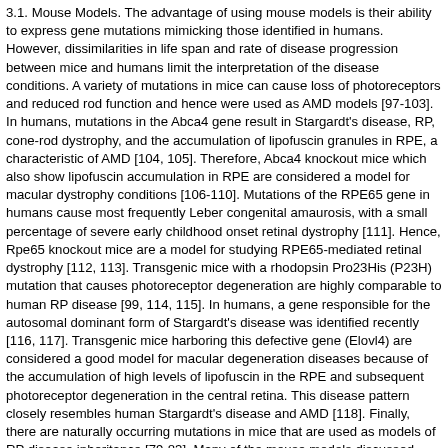3.1. Mouse Models. The advantage of using mouse models is their ability to express gene mutations mimicking those identified in humans. However, dissimilarities in life span and rate of disease progression between mice and humans limit the interpretation of the disease conditions. A variety of mutations in mice can cause loss of photoreceptors and reduced rod function and hence were used as AMD models [97-103]. In humans, mutations in the Abca4 gene result in Stargardt's disease, RP, cone-rod dystrophy, and the accumulation of lipofuscin granules in RPE, a characteristic of AMD [104, 105]. Therefore, Abca4 knockout mice which also show lipofuscin accumulation in RPE are considered a model for macular dystrophy conditions [106-110]. Mutations of the RPE65 gene in humans cause most frequently Leber congenital amaurosis, with a small percentage of severe early childhood onset retinal dystrophy [111]. Hence, Rpe65 knockout mice are a model for studying RPE65-mediated retinal dystrophy [112, 113]. Transgenic mice with a rhodopsin Pro23His (P23H) mutation that causes photoreceptor degeneration are highly comparable to human RP disease [99, 114, 115]. In humans, a gene responsible for the autosomal dominant form of Stargardt's disease was identified recently [116, 117]. Transgenic mice harboring this defective gene (Elovl4) are considered a good model for macular degeneration diseases because of the accumulation of high levels of lipofuscin in the RPE and subsequent photoreceptor degeneration in the central retina. This disease pattern closely resembles human Stargardt's disease and AMD [118]. Finally, there are naturally occurring mutations in mice that are used as models of RP disease inheritance [79-83]. Many of the mouse models discussed here are tested for stem cell therapies using cell suspension injections [89, 119]. In conclusion, the wide variety of gene manipulated mouse models provides a valuable tool for studies on therapeutic intervention of various forms of human RD. However, because of their small eye size, implantation of laminated sheets is found to be difficult in mice [44, 120].